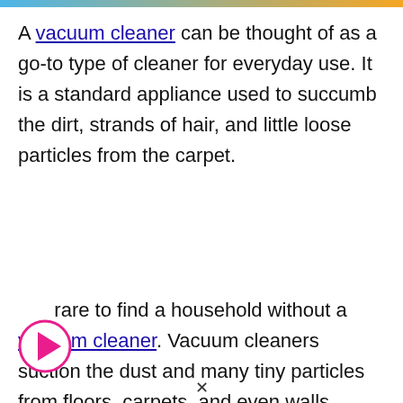[Figure (other): Thin decorative bar at the top of the page with a blue-to-orange gradient]
A vacuum cleaner can be thought of as a go-to type of cleaner for everyday use. It is a standard appliance used to succumb the dirt, strands of hair, and little loose particles from the carpet.
It is rare to find a household without a vacuum cleaner. Vacuum cleaners suction the dust and many tiny particles from floors, carpets, and even walls.
[Figure (other): Pink/magenta circular play button icon overlapping the second text paragraph]